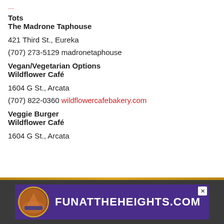Tots
The Madrone Taphouse
421 Third St., Eureka
(707) 273-5129 madronetaphouse
Vegan/Vegetarian Options
Wildflower Café
1604 G St., Arcata
(707) 822-0360 wildflowercafebakery.com
Veggie Burger
Wildflower Café
1604 G St., Arcata
[Figure (other): Advertisement banner for FUNATTHEHEIGHTS.COM with purple background and circular logo]